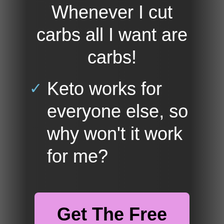Whenever I cut carbs all I want are carbs!
Keto works for everyone else, so why won't it work for me?
[Figure (other): Pink/lavender button with text 'Get The Free Course!']
Kickstart Your Keto Plan with The Same Strategies Nissa Used